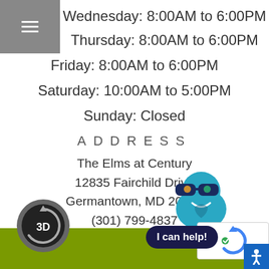Wednesday: 8:00AM to 6:00PM
Thursday: 8:00AM to 6:00PM
Friday: 8:00AM to 6:00PM
Saturday: 10:00AM to 5:00PM
Sunday: Closed
ADDRESS
The Elms at Century
12835 Fairchild Drive
Germantown, MD 20874
(301) 799-4837
[Figure (illustration): Cartoon mascot chatbot with sunglasses]
[Figure (screenshot): reCAPTCHA logo with refresh icon]
[Figure (other): 3D tour button - dark circular button with 3D label]
I can help!